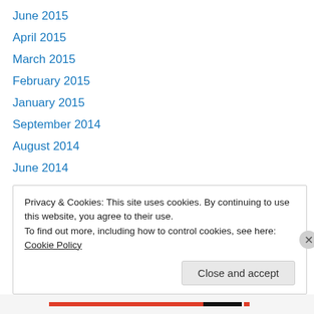June 2015
April 2015
March 2015
February 2015
January 2015
September 2014
August 2014
June 2014
April 2014
March 2014
November 2013
October 2013
August 2013
Privacy & Cookies: This site uses cookies. By continuing to use this website, you agree to their use. To find out more, including how to control cookies, see here: Cookie Policy